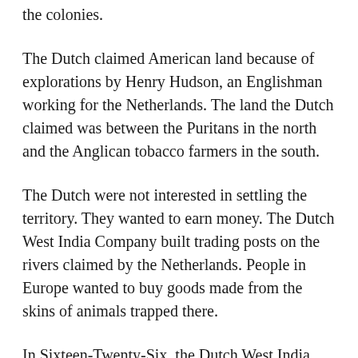the colonies.
The Dutch claimed American land because of explorations by Henry Hudson, an Englishman working for the Netherlands. The land the Dutch claimed was between the Puritans in the north and the Anglican tobacco farmers in the south.
The Dutch were not interested in settling the territory. They wanted to earn money. The Dutch West India Company built trading posts on the rivers claimed by the Netherlands. People in Europe wanted to buy goods made from the skins of animals trapped there.
In Sixteen-Twenty-Six, the Dutch West India Company bought two islands from the local Indians. The islands are Manhattan Island and Long Island. Traditional stories say the Dutch paid for the islands with some